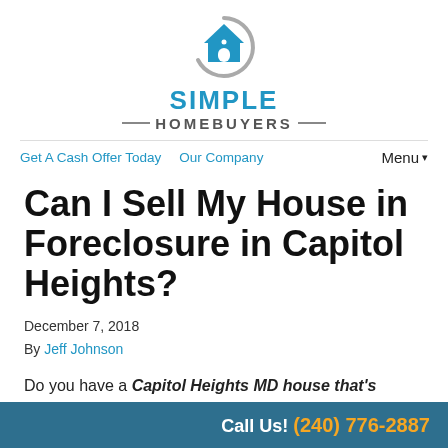[Figure (logo): Simple Homebuyers logo: house icon with circular arrow, blue text 'SIMPLE' above 'HOMEBUYERS' with decorative lines]
Get A Cash Offer Today   Our Company   Menu▾
Can I Sell My House in Foreclosure in Capitol Heights?
December 7, 2018
By Jeff Johnson
Do you have a Capitol Heights MD house that's in foreclosure...